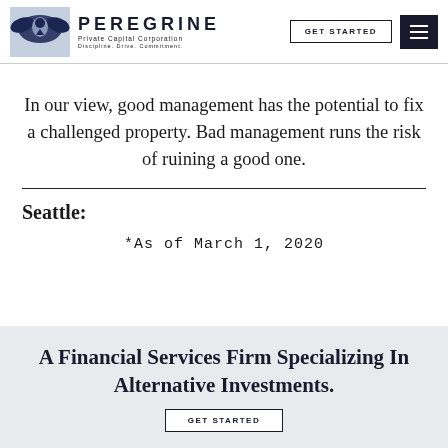PEREGRINE Private Capital Corporation — Discipline. Drive. Commitment. | GET STARTED | Menu
In our view, good management has the potential to fix a challenged property. Bad management runs the risk of ruining a good one.
Seattle:
*As of March 1, 2020
A Financial Services Firm Specializing In Alternative Investments.